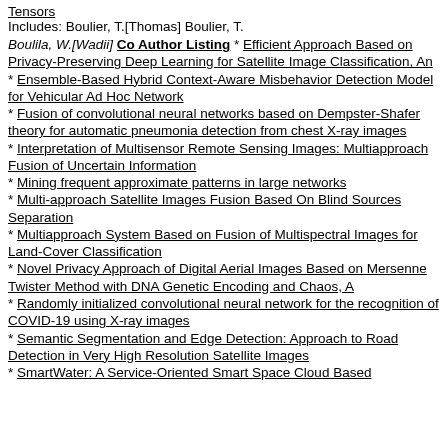Tensors
Includes: Boulier, T.[Thomas] Boulier, T.
Boulila, W.[Wadii] Co Author Listing * Efficient Approach Based on Privacy-Preserving Deep Learning for Satellite Image Classification, An
* Ensemble-Based Hybrid Context-Aware Misbehavior Detection Model for Vehicular Ad Hoc Network
* Fusion of convolutional neural networks based on Dempster-Shafer theory for automatic pneumonia detection from chest X-ray images
* Interpretation of Multisensor Remote Sensing Images: Multiapproach Fusion of Uncertain Information
* Mining frequent approximate patterns in large networks
* Multi-approach Satellite Images Fusion Based On Blind Sources Separation
* Multiapproach System Based on Fusion of Multispectral Images for Land-Cover Classification
* Novel Privacy Approach of Digital Aerial Images Based on Mersenne Twister Method with DNA Genetic Encoding and Chaos, A
* Randomly initialized convolutional neural network for the recognition of COVID-19 using X-ray images
* Semantic Segmentation and Edge Detection: Approach to Road Detection in Very High Resolution Satellite Images
* SmartWater: A Service-Oriented Smart Space Cloud Based...